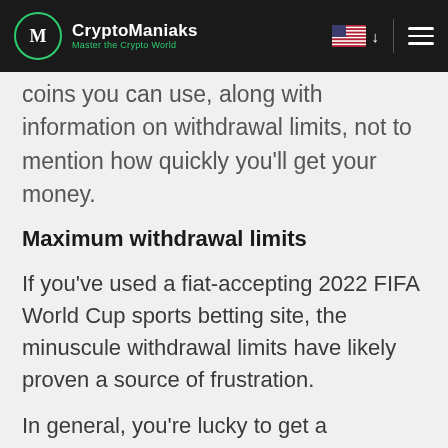CryptoManiaks — Master the Crypto World
coins you can use, along with information on withdrawal limits, not to mention how quickly you'll get your money.
Maximum withdrawal limits
If you've used a fiat-accepting 2022 FIFA World Cup sports betting site, the minuscule withdrawal limits have likely proven a source of frustration.
In general, you're lucky to get a maximum of $10,000 in a week, but some have even lower limits.